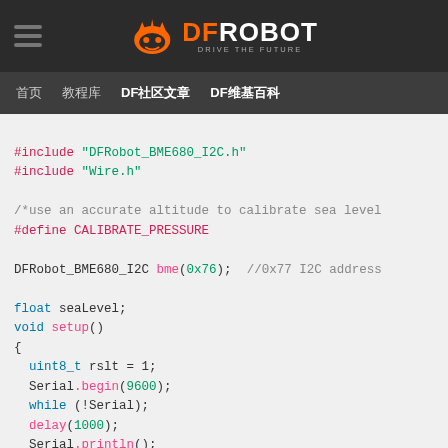DFRobot navigation header with logo and menu
首页  教程库  DF社区文章  DF维基百科
[Figure (screenshot): DFRobot Arduino code snippet showing BME680 I2C sensor setup with includes, defines, and void setup() function]
#include "DFRobot_BME680_I2C.h"
#include "Wire.h"

/*use an accurate altitude to calibrate sea level
#define CALIBRATE_PRESSURE

DFRobot_BME680_I2C bme(0x76);  //0x77 I2C address

float seaLevel;
void setup()
{
  uint8_t rslt = 1;
  Serial.begin(9600);
  while (!Serial);
  delay(1000);
  Serial.println();
  while (rslt != 0) {
    rslt = bme.begin();